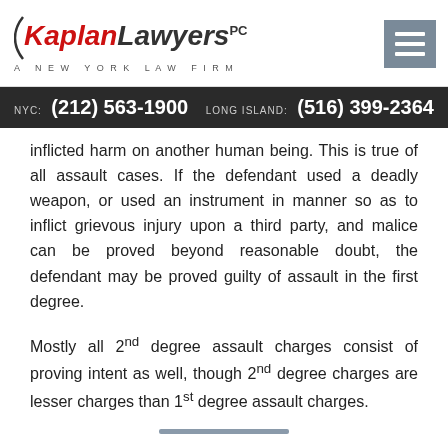Kaplan Lawyers PC — A New York Law Firm
NYC: (212) 563-1900   LONG ISLAND: (516) 399-2364
inflicted harm on another human being. This is true of all assault cases. If the defendant used a deadly weapon, or used an instrument in manner so as to inflict grievous injury upon a third party, and malice can be proved beyond reasonable doubt, the defendant may be proved guilty of assault in the first degree.
Mostly all 2nd degree assault charges consist of proving intent as well, though 2nd degree charges are lesser charges than 1st degree assault charges.